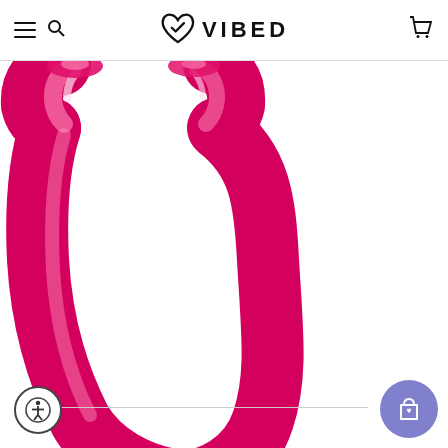[Figure (logo): VIBED brand logo with heart icon in header navigation bar]
[Figure (photo): Pink translucent double-ended curved dildo product on white background]